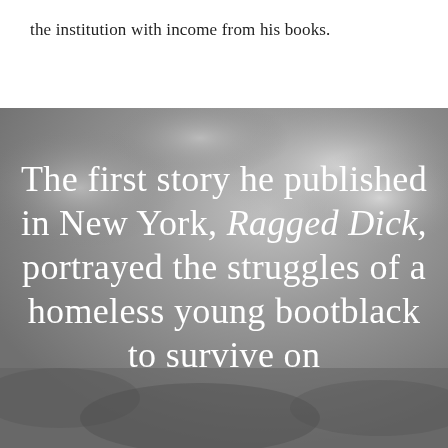the institution with income from his books.
[Figure (photo): Grayscale photograph of a cloudy sky serving as background for overlaid text.]
The first story he published in New York, Ragged Dick, portrayed the struggles of a homeless young bootblack to survive on